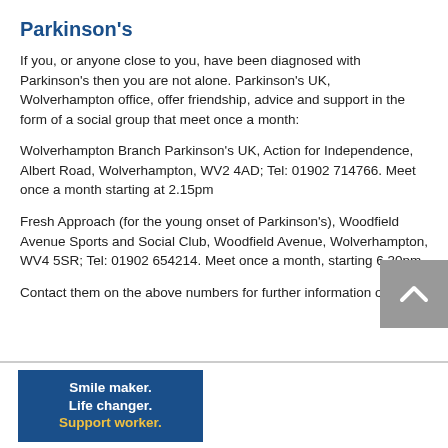Parkinson's
If you, or anyone close to you, have been diagnosed with Parkinson's then you are not alone. Parkinson's UK, Wolverhampton office, offer friendship, advice and support in the form of a social group that meet once a month:
Wolverhampton Branch Parkinson's UK, Action for Independence, Albert Road, Wolverhampton, WV2 4AD; Tel: 01902 714766. Meet once a month starting at 2.15pm
Fresh Approach (for the young onset of Parkinson's), Woodfield Avenue Sports and Social Club, Woodfield Avenue, Wolverhampton, WV4 5SR; Tel: 01902 654214. Meet once a month, starting 6.30pm.
Contact them on the above numbers for further information or
[Figure (other): Blue advertisement box reading: Smile maker. Life changer. Support worker.]